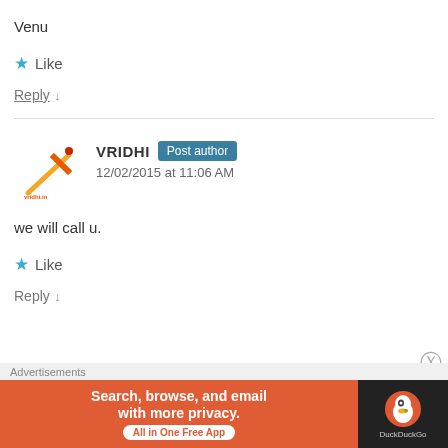Venu
★ Like
Reply ↓
[Figure (logo): Vridhi brand logo with orange stylized letter i]
VRIDHI Post author
12/02/2015 at 11:06 AM
we will call u.
★ Like
Reply ↓
[Figure (screenshot): DuckDuckGo advertisement banner: Search, browse, and email with more privacy. All in One Free App.]